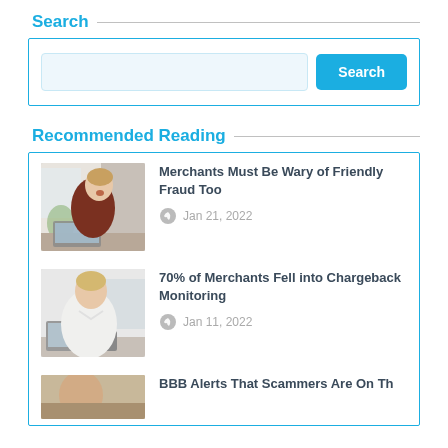Search
[Figure (screenshot): Search widget with text input field and blue Search button]
Recommended Reading
[Figure (photo): Woman in maroon top looking surprised at laptop]
Merchants Must Be Wary of Friendly Fraud Too
Jan 21, 2022
[Figure (photo): Woman in white shirt working at laptop]
70% of Merchants Fell into Chargeback Monitoring
Jan 11, 2022
[Figure (photo): Partially visible third article image]
BBB Alerts That Scammers Are On Th…